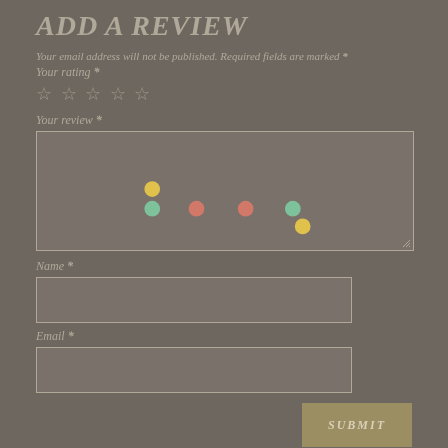ADD A REVIEW
Your email address will not be published. Required fields are marked *
Your rating *
☆ ☆ ☆ ☆ ☆
Your review *
[Figure (scatter-plot): Scatter plot with colored dots inside a text area box: yellow dot upper-left area, green dot lower-left, two red dots lower-center, one green dot lower-right, one yellow dot lower-right near bottom]
Name *
Email *
SUBMIT